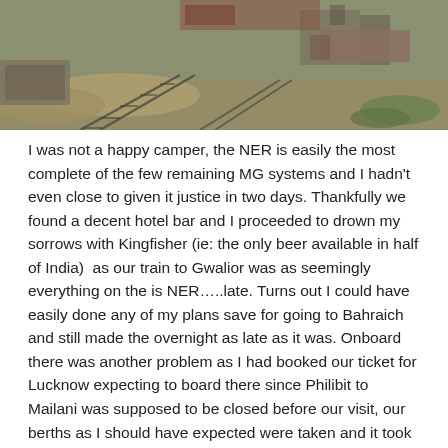[Figure (photo): Aerial or elevated view of railway tracks and rolling stock, with dirt embankments, grass, and parked train wagons visible. The image shows a railway yard scene, likely in India.]
I was not a happy camper, the NER is easily the most complete of the few remaining MG systems and I hadn't even close to given it justice in two days. Thankfully we found a decent hotel bar and I proceeded to drown my sorrows with Kingfisher (ie: the only beer available in half of India)  as our train to Gwalior was as seemingly everything on the is NER…..late. Turns out I could have easily done any of my plans save for going to Bahraich and still made the overnight as late as it was. Onboard there was another problem as I had booked our ticket for Lucknow expecting to board there since Philibit to Mailani was supposed to be closed before our visit, our berths as I should have expected were taken and it took awhile for the TTE to sort out. Eventually we all got separate births and I passed out to awake the next morning to find us standing at Hazarat Nizzadmun station, it was already 4:50 in the morning, we were supposed to have been long gone from here. Having had quite enough I decided I needed a break so got my stuff and got down and after waiting till a more sane hour headed to my grandparents flat to relax for a day ahead. I should have gone to